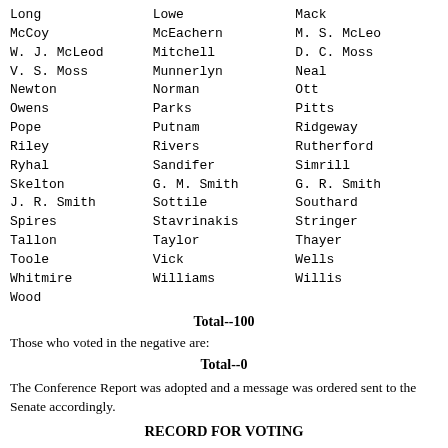Long   Lowe   Mack
McCoy   McEachern   M. S. McLeod
W. J. McLeod   Mitchell   D. C. Moss
V. S. Moss   Munnerlyn   Neal
Newton   Norman   Ott
Owens   Parks   Pitts
Pope   Putnam   Ridgeway
Riley   Rivers   Rutherford
Ryhal   Sandifer   Simrill
Skelton   G. M. Smith   G. R. Smith
J. R. Smith   Sottile   Southard
Spires   Stavrinakis   Stringer
Tallon   Taylor   Thayer
Toole   Vick   Wells
Whitmire   Williams   Willis
Wood
Total--100
Those who voted in the negative are:
Total--0
The Conference Report was adopted and a message was ordered sent to the Senate accordingly.
RECORD FOR VOTING
In a request for a vote on the Conference Report on H. 3774, I...